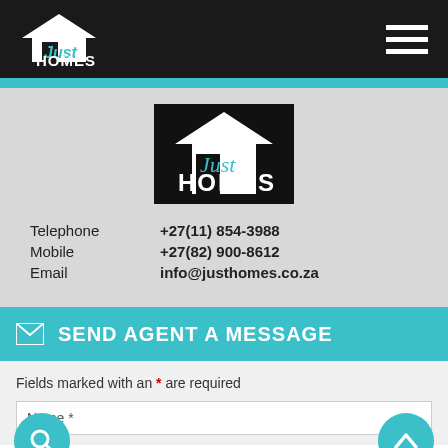[Figure (logo): Just Homes logo in navigation bar - white house/roof graphic with 'Just HOMES' text on dark background]
[Figure (logo): Just Homes logo centered - white house/roof graphic with cursive 'Just' and bold 'HOMES' text on black background]
Telephone   +27(11) 854-3988
Mobile   +27(82) 900-8612
Email   info@justhomes.co.za
SEND AGENT A MESSAGE
Fields marked with an * are required
Name *